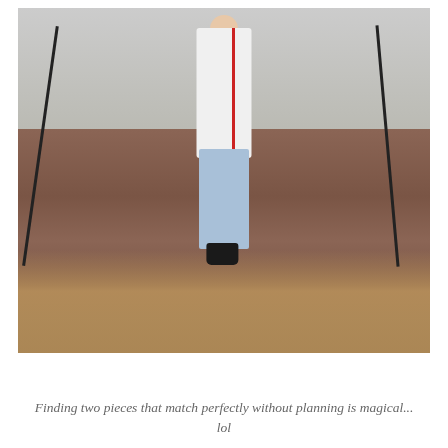[Figure (photo): A woman wearing a white long-sleeve top with red stripe detail, light blue cropped jeans, and black ankle boots, walking down brick outdoor steps with black iron railings. Fallen autumn leaves are scattered on the brick pavement at the bottom. Background shows a colonial-style building with red and white decorative elements.]
Finding two pieces that match perfectly without planning is magical... lol